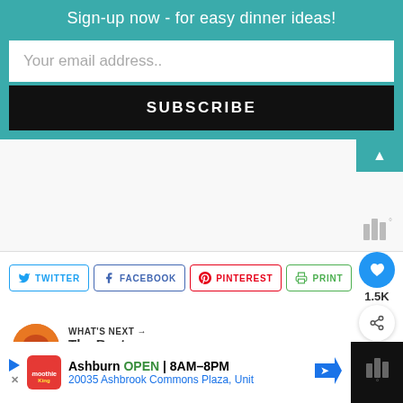Sign-up now - for easy dinner ideas!
Your email address..
SUBSCRIBE
1.5K
TWITTER
FACEBOOK
PINTEREST
PRINT
WHAT'S NEXT → The Best Loaded...
April King
Ashburn OPEN 8AM–8PM 20035 Ashbrook Commons Plaza, Unit